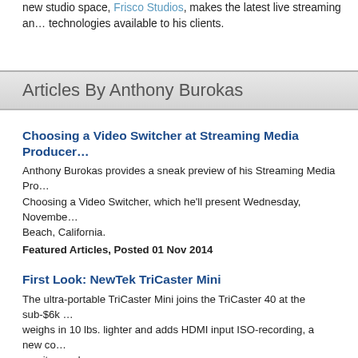new studio space, Frisco Studios, makes the latest live streaming and technologies available to his clients.
Articles By Anthony Burokas
Choosing a Video Switcher at Streaming Media Producer — Anthony Burokas provides a sneak preview of his Streaming Media Producer session, Choosing a Video Switcher, which he'll present Wednesday, November, Beach, California. Featured Articles, Posted 01 Nov 2014
First Look: NewTek TriCaster Mini — The ultra-portable TriCaster Mini joins the TriCaster 40 at the sub-$6k category, weighs in 10 lbs. lighter and adds HDMI input ISO-recording, a new co monitor, and more. Featured Articles, Posted 09 Oct 2014
Review: F&V R300 Ringlight — I'm revisiting ring lights because I found one that addressed the two things when I reviewed the Rosco Ring Light http://buff.ly/1u7t08l last year. This one with LEDs facing the subject instead of into a white plastic. It also has